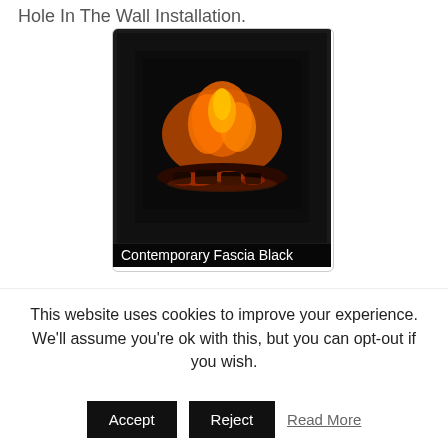Hole In The Wall Installation.
[Figure (photo): A fireplace with black contemporary fascia surround showing flames and glowing coals, with caption 'Contemporary Fascia Black']
[Figure (photo): Partially visible fireplace image at bottom, showing a light-coloured surround]
This website uses cookies to improve your experience. We'll assume you're ok with this, but you can opt-out if you wish.
Accept | Reject | Read More